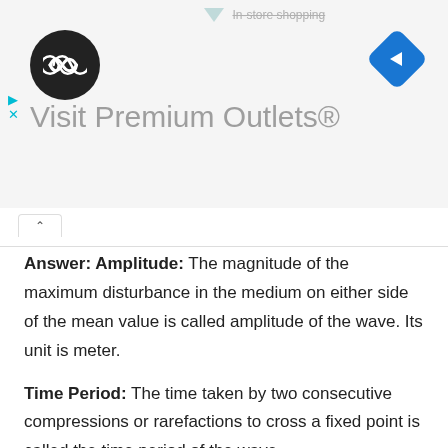[Figure (screenshot): Advertisement banner for 'Visit Premium Outlets®' with a circular logo containing infinite/loop symbol on the left, a blue navigation arrow diamond icon on the right, play button icon, and strikethrough text 'In-store shopping' at top]
Answer: Amplitude: The magnitude of the maximum disturbance in the medium on either side of the mean value is called amplitude of the wave. Its unit is meter.
Time Period: The time taken by two consecutive compressions or rarefactions to cross a fixed point is called the time period of the wave.
Frequency: The number of oscillation, occurring per unit time is called the frequency of sound wave.